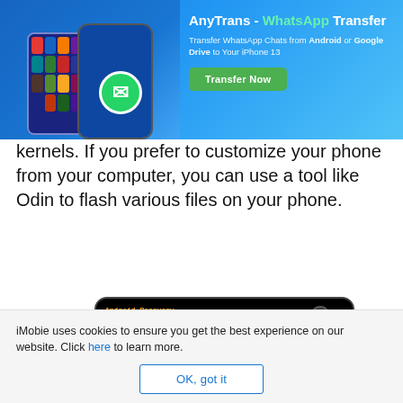[Figure (screenshot): AnyTrans WhatsApp Transfer advertisement banner showing two phone mockups with WhatsApp icon, text 'AnyTrans - WhatsApp Transfer', subtitle 'Transfer WhatsApp Chats from Android or Google Drive to Your iPhone 13', and a green 'Transfer Now' button]
kernels. If you prefer to customize your phone from your computer, you can use a tool like Odin to flash various files on your phone.
[Figure (screenshot): Android Recovery mode screen on a phone showing blurred menu options in orange/yellow text and 'Use volume up/down and power.' at the bottom]
iMobie uses cookies to ensure you get the best experience on our website. Click here to learn more.
OK, got it